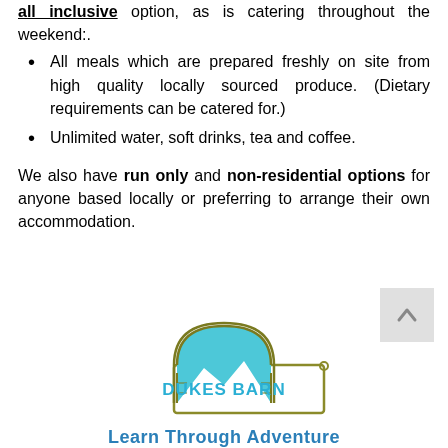all inclusive option, as is catering throughout the weekend:.
All meals which are prepared freshly on site from high quality locally sourced produce. (Dietary requirements can be catered for.)
Unlimited water, soft drinks, tea and coffee.
We also have run only and non-residential options for anyone based locally or preferring to arrange their own accommodation.
[Figure (logo): Dukes Barn logo with arch and landscape illustration, teal text reading DUKES BARN, olive/gold border rectangle]
Learn Through Adventure